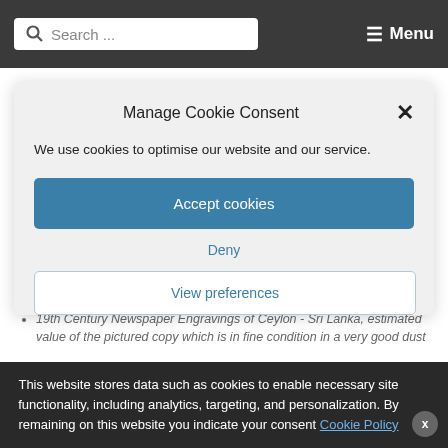Search ... Menu
Some engravings are reproduced in colour
Manage Cookie Consent
We use cookies to optimise our website and our service.
Accept cookies
Deny
View preferences
This website stores data such as cookies to enable necessary site functionality, including analytics, targeting, and personalization. By remaining on this website you indicate your consent Cookie Policy
19th Century Newspaper Engravings of Ceylon - Sri Lanka, estimated value of the pictured copy which is in fine condition in a very good dust